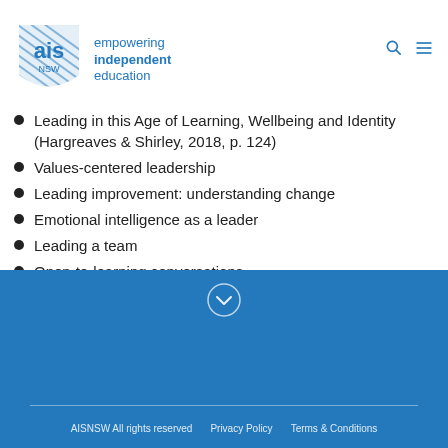AIS NSW — empowering independent education
Leading in this Age of Learning, Wellbeing and Identity (Hargreaves & Shirley, 2018, p. 124)
Values-centered leadership
Leading improvement: understanding change
Emotional intelligence as a leader
Leading a team
Open-to-learning conversations
Alignment between self, team and school.
AISNSW All rights reserved   Privacy Policy   Terms & Conditions